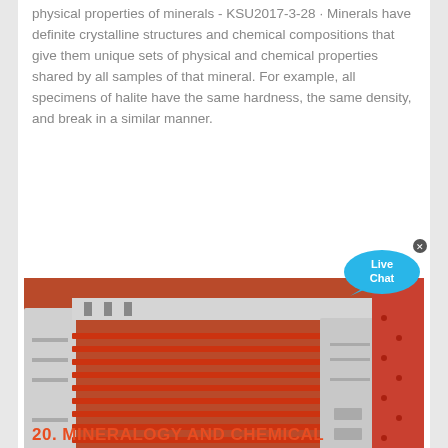physical properties of minerals - KSU2017-3-28 · Minerals have definite crystalline structures and chemical compositions that give them unique sets of physical and chemical properties shared by all samples of that mineral. For example, all specimens of halite have the same hardness, the same density, and break in a similar manner.
[Figure (photo): Industrial machinery with red and silver metal panels/slats arranged in rows, resembling a conveyor or sorting mechanism]
20. MINERALOGY AND CHEMICAL